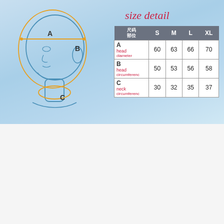[Figure (illustration): Side-view line drawing of a human head showing measurement points A (head diameter, horizontal line at crown), B (head circumference, oval around skull), and C (neck circumference, oval around neck). Lines and ovals are drawn in orange/gold on a light blue background.]
size detail
| 部位 / 尺码 | S | M | L | XL |
| --- | --- | --- | --- | --- |
| A  head diameter | 60 | 63 | 66 | 70 |
| B  head circumference | 50 | 53 | 56 | 58 |
| C  neck circumference | 30 | 32 | 35 | 37 |
[Figure (photo): Photograph of a beige/skin-tone face slimming bandage/wrap laid flat, showing the V-shaped straps and oval ear cutout holes on both sides.]